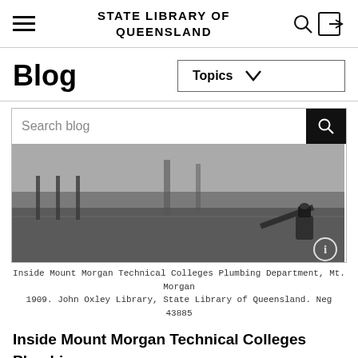STATE LIBRARY OF QUEENSLAND
Blog
Topics
Search blog
[Figure (photo): Black and white photograph showing the interior of Mount Morgan Technical Colleges Plumbing Department, Mt. Morgan, 1909. Plumbing equipment and tools visible on floor.]
Inside Mount Morgan Technical Colleges Plumbing Department, Mt. Morgan 1909. John Oxley Library, State Library of Queensland. Neg 43885
Inside Mount Morgan Technical Colleges Plumbing Department, Mt. Morgan 1909. John Oxley Library, State